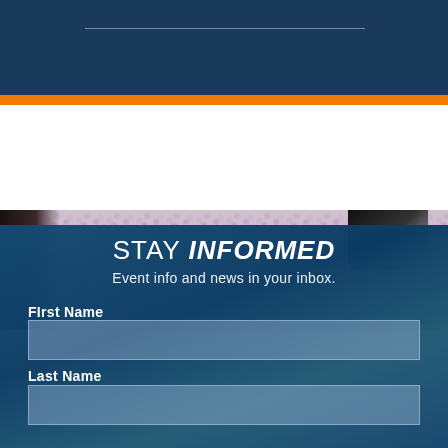[Figure (photo): Dark blue header bar with a thin horizontal rule, followed by an orange accent bar, and a photo strip showing floral fabric with a dark jacket/sleeve on the left and dark shape on upper right]
STAY INFORMED
Event info and news in your inbox.
FIrst Name
Last Name